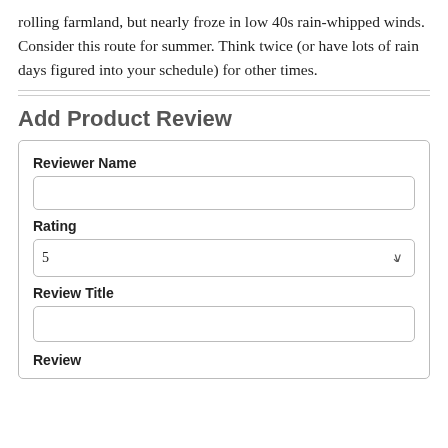rolling farmland, but nearly froze in low 40s rain-whipped winds. Consider this route for summer. Think twice (or have lots of rain days figured into your schedule) for other times.
Add Product Review
| Reviewer Name |  |
| Rating | 5 |
| Review Title |  |
| Review |  |